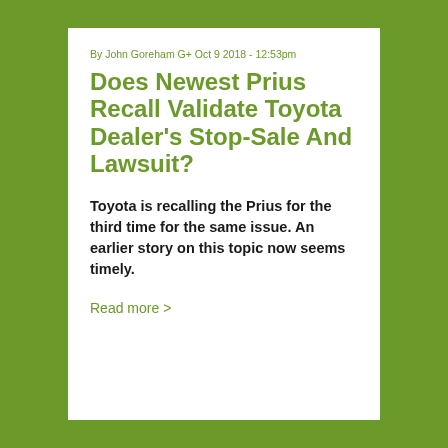By John Goreham G+ Oct 9 2018 - 12:53pm
Does Newest Prius Recall Validate Toyota Dealer's Stop-Sale And Lawsuit?
Toyota is recalling the Prius for the third time for the same issue. An earlier story on this topic now seems timely.
Read more >